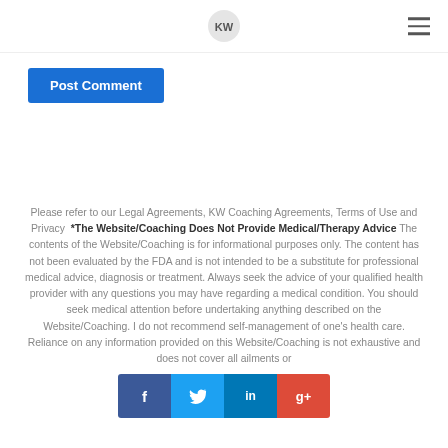KW logo and navigation
Post Comment
Please refer to our Legal Agreements, KW Coaching Agreements, Terms of Use and Privacy *The Website/Coaching Does Not Provide Medical/Therapy Advice The contents of the Website/Coaching is for informational purposes only. The content has not been evaluated by the FDA and is not intended to be a substitute for professional medical advice, diagnosis or treatment. Always seek the advice of your qualified health provider with any questions you may have regarding a medical condition. You should seek medical attention before undertaking anything described on the Website/Coaching. I do not recommend self-management of one's health care. Reliance on any information provided on this Website/Coaching is not exhaustive and does not cover all ailments or
[Figure (infographic): Social media sharing buttons: Facebook (blue), Twitter (light blue), LinkedIn (dark blue), Google+ (red)]